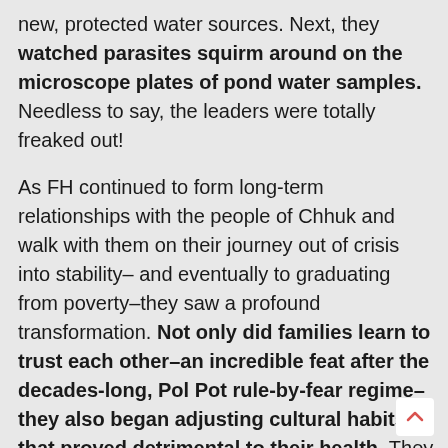new, protected water sources. Next, they watched parasites squirm around on the microscope plates of pond water samples. Needless to say, the leaders were totally freaked out!
As FH continued to form long-term relationships with the people of Chhuk and walk with them on their journey out of crisis into stability– and eventually to graduating from poverty–they saw a profound transformation. Not only did families learn to trust each other–an incredible feat after the decades-long, Pol Pot rule-by-fear regime–they also began adjusting cultural habits that proved detrimental to their health. They had the maturity and humility to listen to outsiders, examine their practices, and ask themselves whether those